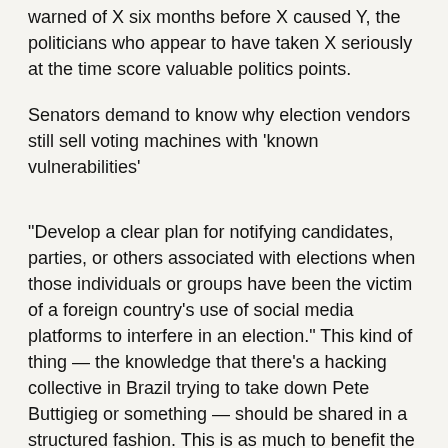warned of X six months before X caused Y, the politicians who appear to have taken X seriously at the time score valuable politics points.
Senators demand to know why election vendors still sell voting machines with 'known vulnerabilities'
“Develop a clear plan for notifying candidates, parties, or others associated with elections when those individuals or groups have been the victim of a foreign country’s use of social media platforms to interfere in an election.” This kind of thing — the knowledge that there’s a hacking collective in Brazil trying to take down Pete Buttigieg or something — should be shared in a structured fashion. This is as much to benefit the target as it is to punish those who would withhold that information.